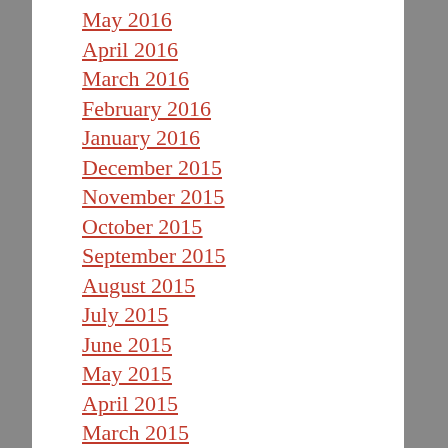May 2016
April 2016
March 2016
February 2016
January 2016
December 2015
November 2015
October 2015
September 2015
August 2015
July 2015
June 2015
May 2015
April 2015
March 2015